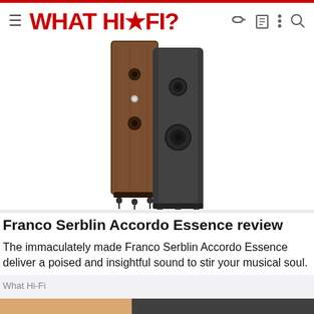WHAT HI*FI?
[Figure (photo): Two tall floor-standing loudspeakers side by side — one in dark walnut wood finish (left) and one in dark grey/graphite finish (right). Both speakers are slender tower designs with multiple drive units visible on the front baffles, mounted on metal spiked bases.]
Franco Serblin Accordo Essence review
The immaculately made Franco Serblin Accordo Essence deliver a poised and insightful sound to stir your musical soul.
What Hi-Fi